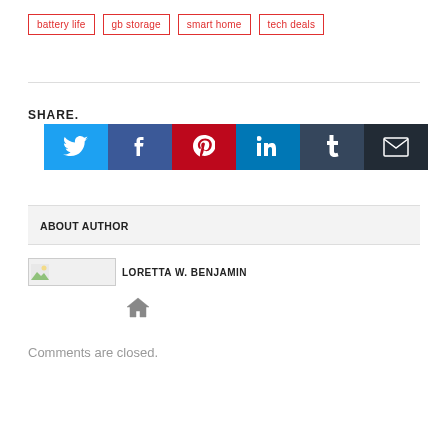battery life
gb storage
smart home
tech deals
SHARE.
[Figure (infographic): Social share buttons: Twitter (blue), Facebook (dark blue), Pinterest (red), LinkedIn (teal), Tumblr (dark slate), Email (dark)]
ABOUT AUTHOR
LORETTA W. BENJAMIN
[Figure (infographic): Home icon (house symbol) in gray]
Comments are closed.